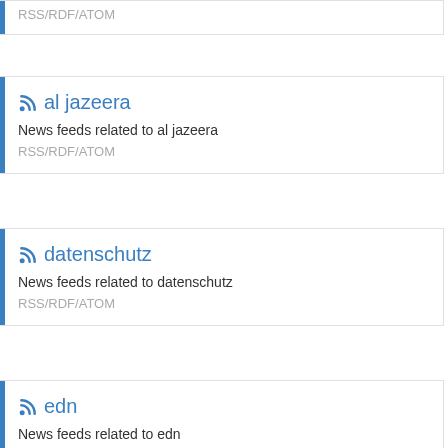RSS/RDF/ATOM
al jazeera
News feeds related to al jazeera
RSS/RDF/ATOM
datenschutz
News feeds related to datenschutz
RSS/RDF/ATOM
edn
News feeds related to edn